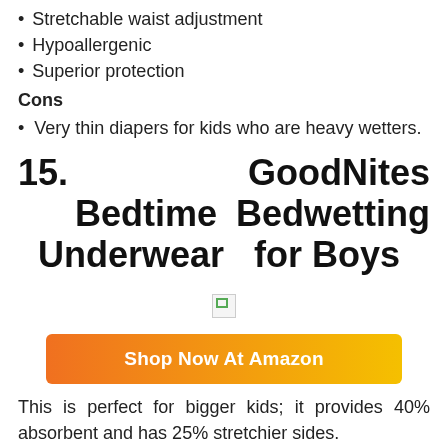Stretchable waist adjustment
Hypoallergenic
Superior protection
Cons
Very thin diapers for kids who are heavy wetters.
15. GoodNites Bedtime Bedwetting Underwear for Boys
[Figure (photo): Product image placeholder (broken image icon)]
Shop Now At Amazon
This is perfect for bigger kids; it provides 40% absorbent and has 25% stretchier sides.